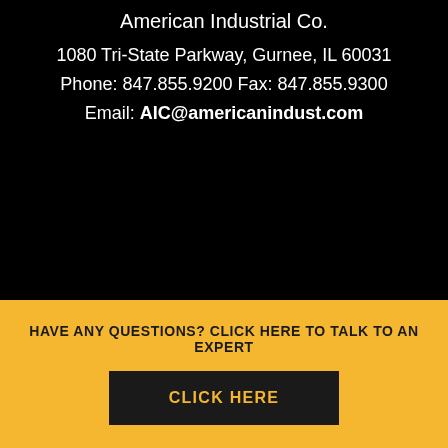American Industrial Co.
1080 Tri-State Parkway, Gurnee, IL 60031
Phone: 847.855.9200 Fax: 847.855.9300
Email: AIC@americanindust.com
X
HAVE ANY QUESTIONS? CLICK HERE TO TALK TO AN EXPERT
CLICK HERE